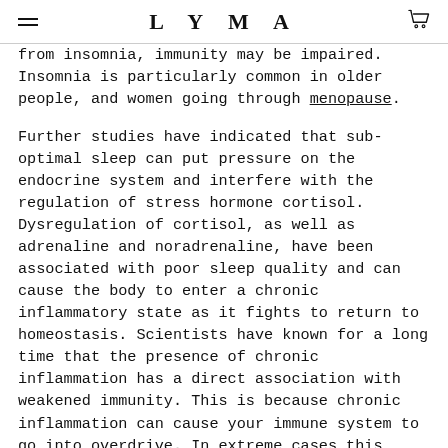LYMA
from insomnia, immunity may be impaired. Insomnia is particularly common in older people, and women going through menopause.
Further studies have indicated that sub-optimal sleep can put pressure on the endocrine system and interfere with the regulation of stress hormone cortisol. Dysregulation of cortisol, as well as adrenaline and noradrenaline, have been associated with poor sleep quality and can cause the body to enter a chronic inflammatory state as it fights to return to homeostasis. Scientists have known for a long time that the presence of chronic inflammation has a direct association with weakened immunity. This is because chronic inflammation can cause your immune system to go into overdrive. In extreme cases this over-taxing of the immune system can lead to the development